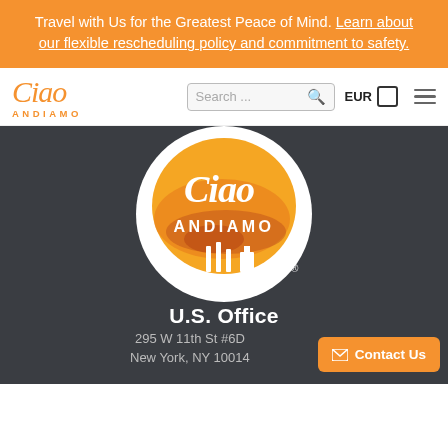Travel with Us for the Greatest Peace of Mind. Learn about our flexible rescheduling policy and commitment to safety.
[Figure (logo): Ciao Andiamo logo in orange script with ANDIAMO text below]
Search ...
EUR
[Figure (logo): Ciao Andiamo circular logo on orange watercolor background with silhouette of cypress trees and buildings on dark grey section]
U.S. Office
295 W 11th St #6D
New York, NY 10014
Contact Us